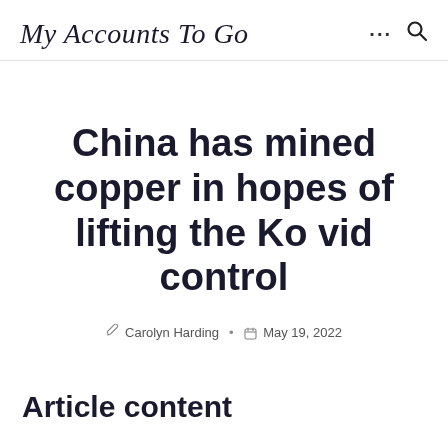My Accounts To Go
China has mined copper in hopes of lifting the Ko vid control
Carolyn Harding • May 19, 2022
Article content